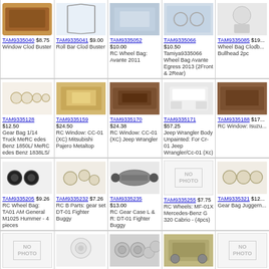| Item | Item | Item | Item | Item |
| --- | --- | --- | --- | --- |
| TAM9335040 $8.75 Window Clod Buster | TAM9335041 $9.00 Roll Bar Clod Buster | TAM9335052 $10.00 RC Wheel Bag: Avante 2011 | TAM9335066 $10.50 Tamiya9335066 Wheel Bag Avante Egress 2013 (2Front & 2Rear) | TAM9335085 $19... Wheel Bag Clodb... Bullhead 2pc |
| TAM9335128 $12.50 Gear Bag 1/14 Truck MeRC edes Benz 1850L/ MeRC edes Benz 1838LS/ | TAM9335159 $24.50 RC Window: CC-01 (XC) Mitsubishi Pajero Metaltop | TAM9335170 $24.38 RC Window: CC-01 (XC) Jeep Wrangler | TAM9335171 $57.25 Jeep Wrangler Body Unpainted: For Cr-01 Jeep Wrangler/Cc-01 (Xc) | TAM9335188 $17... RC Window: Isuzu... |
| TAM9335205 $9.26 RC Wheel Bag: TA01 AM General M1025 Hummer - 4 pieces | TAM9335232 $7.26 RC B Parts: gear set DT-01 Fighter Buggy | TAM9335235 $13.00 RC Gear Case L & R: DT-01 Fighter Buggy | TAM9335255 $7.75 RC Wheels: MF-01X Mercedes-Benz G 320 Cabrio - (4pcs) | TAM9335321 $12... Gear Bag Juggern... |
| TAM9335398 $15.50 RC Chassis: 58310 | TAM9335432 $4.98 Gear Bag: DT-02 Desert Gator and DT-02 | TAM9335442 $15.00 RC Wheels: CW-01 Midnight Pumpkin Chrome Metallic | TAM9335443 $58.50 RCBody:CW-01 Midnight Pumpkin Chrome Metallic | TAM9335449 $10... RC Chassis: 5837... |